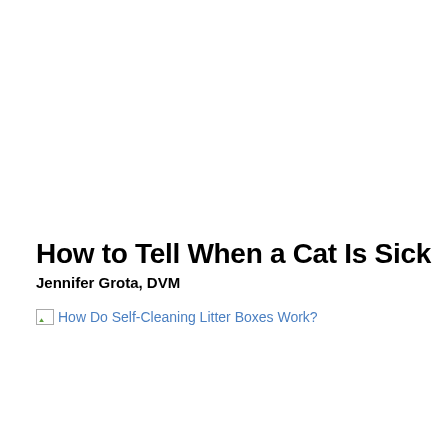How to Tell When a Cat Is Sick
Jennifer Grota, DVM
[Figure (other): Broken image icon followed by a hyperlink reading 'How Do Self-Cleaning Litter Boxes Work?']